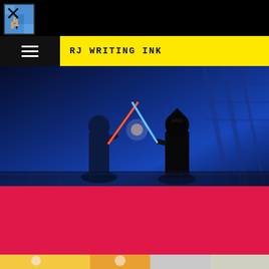RJ WRITING INK
[Figure (screenshot): Star Wars lightsaber duel scene showing two silhouetted figures crossing red and blue lightsabers in a blue-lit industrial setting]
POSTED SEPTEMBER 6, 2019 / 1 COMMENT / ANIMATION
Doofus Drake's Birthday Party
[Figure (illustration): Bottom strip showing cartoon animation characters in yellow and orange tones]